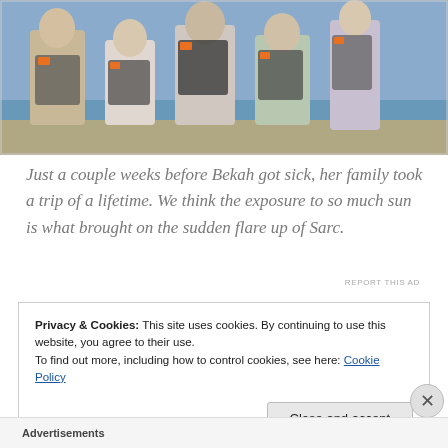[Figure (photo): Group of children and an adult at a beach, wearing life jackets and holding equipment, standing by water.]
Just a couple weeks before Bekah got sick, her family took a trip of a lifetime. We think the exposure to so much sun is what brought on the sudden flare up of Sarc.
REPORT THIS AD
Privacy & Cookies: This site uses cookies. By continuing to use this website, you agree to their use.
To find out more, including how to control cookies, see here: Cookie Policy
Close and accept
Advertisements